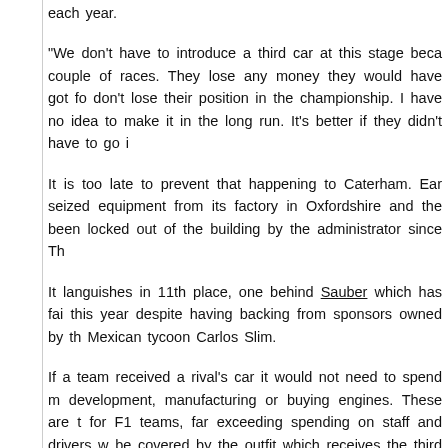each year.
"We don't have to introduce a third car at this stage because they miss a couple of races. They lose any money they would have got for those races but don't lose their position in the championship. I have no idea if they are going to make it in the long run. It's better if they didn't have to go into administration."
It is too late to prevent that happening to Caterham. Earlier this week bailiffs seized equipment from its factory in Oxfordshire and the workforce have been locked out of the building by the administrator since Thursday.
It languishes in 11th place, one behind Sauber which has failed to score a point this year despite having backing from sponsors owned by the family of Mexican tycoon Carlos Slim.
If a team received a rival's car it would not need to spend much money on development, manufacturing or buying engines. These are the biggest expenses for F1 teams, far exceeding spending on staff and drivers which would still be covered by the outfit which receives the third car.
Marussia's latest company accounts are for 2012 and show it spent most on research and development which alone comes to 42% of its total expenditure. Manufacturing and engine expenses are estimated at a further 39%, meaning the company would have to find only about a fifth of its outgoings if it